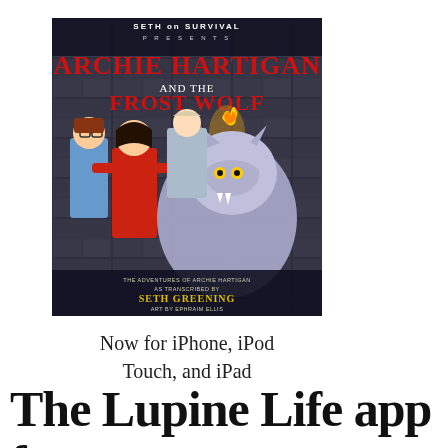[Figure (illustration): Book cover for 'Archie Hartigan and the Frost Wolf' from Seth on Survival Presents. Shows three characters (two girls and a boy) facing a large frost wolf. Title text in red and white. Authors: Seth Greening, art by Ephraim Ellis.]
Now for iPhone, iPod Touch, and iPad
The Lupine Life app for Werewolves